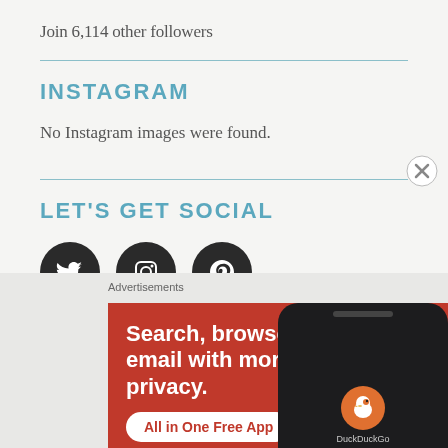Join 6,114 other followers
INSTAGRAM
No Instagram images were found.
LET'S GET SOCIAL
[Figure (illustration): Three social media icon buttons (Twitter, Instagram, Pinterest) as white icons on dark circular backgrounds]
[Figure (screenshot): Advertisement banner for DuckDuckGo showing text 'Search, browse, and email with more privacy. All in One Free App' with a phone graphic on an orange-red background. Label 'Advertisements' above.]